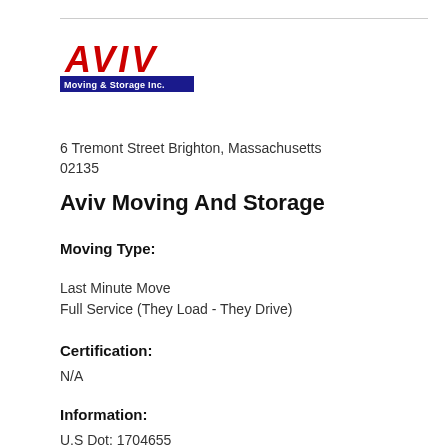[Figure (logo): AVIV Moving & Storage Inc. company logo with red italic bold text 'AVIV' and blue banner reading 'Moving & Storage Inc.']
6 Tremont Street Brighton, Massachusetts 02135
Aviv Moving And Storage
Moving Type:
Last Minute Move
Full Service (They Load - They Drive)
Certification:
N/A
Information:
U.S Dot: 1704655
MC Number: 625664 BBB Ratings: A**